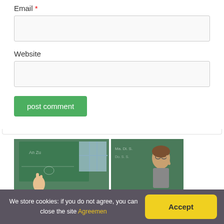Email *
[Figure (screenshot): Empty text input field for Email]
Website
[Figure (screenshot): Empty text input field for Website]
post comment
[Figure (photo): Two classroom images side by side showing blackboards and students/teachers pointing]
We store cookies: if you do not agree, you can close the site Agreemen